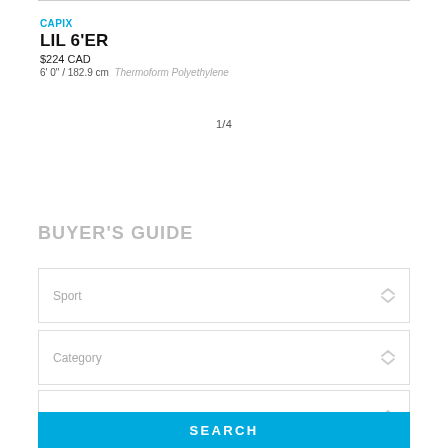CAPIX
LIL 6'ER
$224 CAD
6' 0" / 182.9 cm  Thermoform Polyethylene
1/4
BUYER'S GUIDE
Sport
Category
Brand
SEARCH